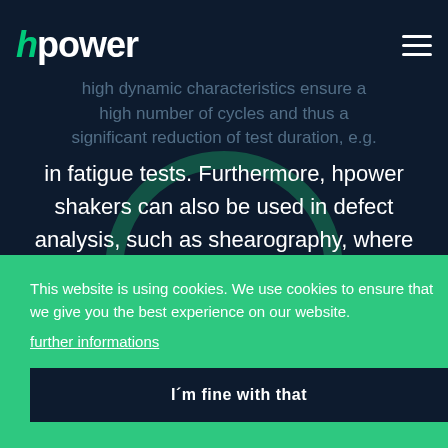hpower [logo] | hamburger menu
high dynamic characteristics ensure a high number of cycles and thus a significant reduction of test duration, e.g. in fatigue tests. Furthermore, hpower shakers can also be used in defect analysis, such as shearography, where high-frequency, broadband vibration excitation is required.
This website is using cookies. We use cookies to ensure that we give you the best experience on our website.
further informations
I´m fine with that